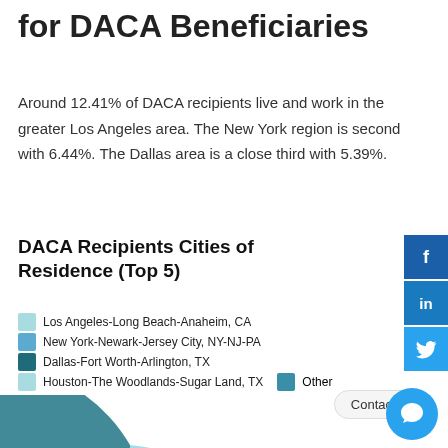for DACA Beneficiaries
Around 12.41% of DACA recipients live and work in the greater Los Angeles area. The New York region is second with 6.44%. The Dallas area is a close third with 5.39%.
DACA Recipients Cities of Residence (Top 5)
Los Angeles-Long Beach-Anaheim, CA
New York-Newark-Jersey City, NY-NJ-PA
Dallas-Fort Worth-Arlington, TX
Houston-The Woodlands-Sugar Land, TX
Other
[Figure (pie-chart): DACA Recipients Cities of Residence (Top 5)]